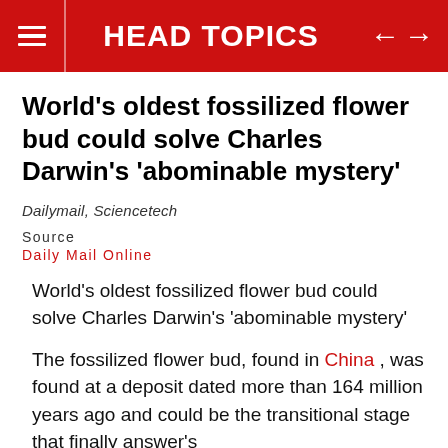HEAD TOPICS
World's oldest fossilized flower bud could solve Charles Darwin's 'abominable mystery'
Dailymail, Sciencetech
Source
Daily Mail Online
World's oldest fossilized flower bud could solve Charles Darwin's 'abominable mystery'
The fossilized flower bud, found in China , was found at a deposit dated more than 164 million years ago and could be the transitional stage that finally answer's